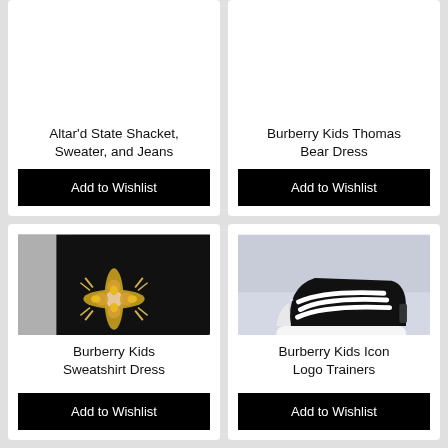Altar'd State Shacket, Sweater, and Jeans
Add to Wishlist
Burberry Kids Thomas Bear Dress
Add to Wishlist
[Figure (photo): Black sweatshirt dress with decorative gemstone cross motif on front, white garment visible to the left]
Burberry Kids Sweatshirt Dress
Add to Wishlist
[Figure (photo): Burberry black and white low-top sneakers/trainers with stripe laces and logo text on sole, displayed on light blue/grey surface]
Burberry Kids Icon Logo Trainers
Add to Wishlist